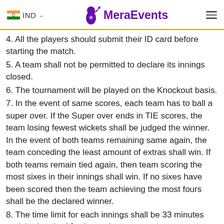IND  MeraEvents
4. All the players should submit their ID card before starting the match.
5. A team shall not be permitted to declare its innings closed.
6. The tournament will be played on the Knockout basis.
7. In the event of same scores, each team has to ball a super over. If the Super over ends in TIE scores, the team losing fewest wickets shall be judged the winner. In the event of both teams remaining same again, the team conceding the least amount of extras shall win. If both teams remain tied again, then team scoring the most sixes in their innings shall win. If no sixes have been scored then the team achieving the most fours shall be the declared winner.
8. The time limit for each innings shall be 33 minutes and the break of 8 minutes between